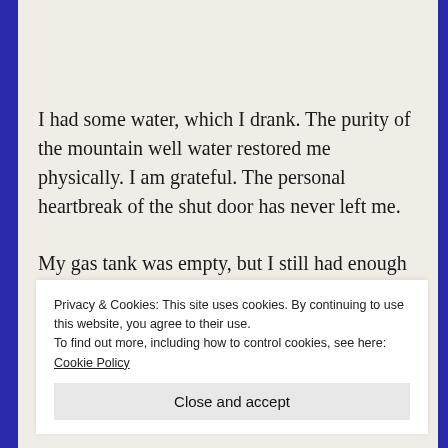I had some water, which I drank. The purity of the mountain well water restored me physically. I am grateful. The personal heartbreak of the shut door has never left me.
My gas tank was empty, but I still had enough money for fuel, so I went to get it, before I continued my journey.
I stopped at a convenience store with poor exterior
Privacy & Cookies: This site uses cookies. By continuing to use this website, you agree to their use.
To find out more, including how to control cookies, see here: Cookie Policy
Close and accept